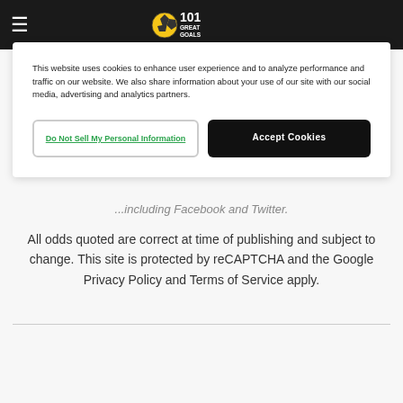101 Great Goals
This website uses cookies to enhance user experience and to analyze performance and traffic on our website. We also share information about your use of our site with our social media, advertising and analytics partners.
Do Not Sell My Personal Information
Accept Cookies
...including Facebook and Twitter.
All odds quoted are correct at time of publishing and subject to change. This site is protected by reCAPTCHA and the Google Privacy Policy and Terms of Service apply.